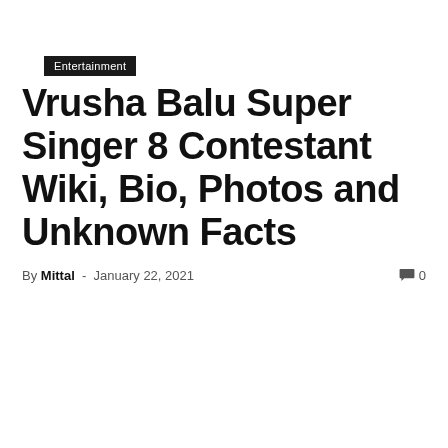Entertainment
Vrusha Balu Super Singer 8 Contestant Wiki, Bio, Photos and Unknown Facts
By Mittal - January 22, 2021  0